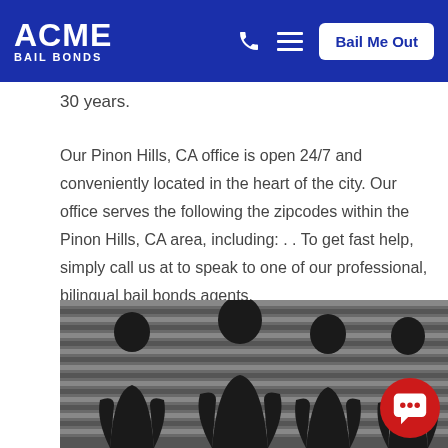ACME BAIL BONDS | Phone | Menu | Bail Me Out
30 years.
Our Pinon Hills, CA office is open 24/7 and conveniently located in the heart of the city. Our office serves the following the zipcodes within the Pinon Hills, CA area, including: . . To get fast help, simply call us at to speak to one of our professional, bilingual bail bonds agents.
[Figure (photo): Silhouettes of four people standing in front of a police lineup background with horizontal lines]